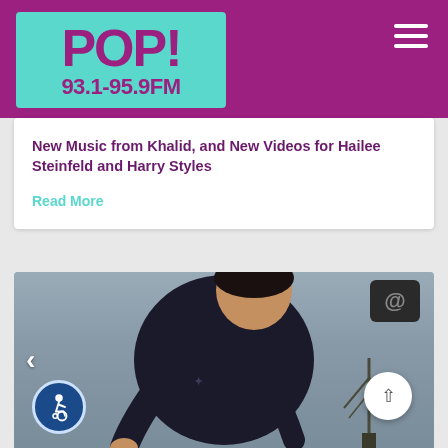[Figure (logo): POP! 93.1-95.9FM radio station logo in teal/cyan box on magenta/purple header with hamburger menu icon]
New Music from Khalid, and New Videos for Hailee Steinfeld and Harry Styles
Read More
[Figure (photo): Photo of a man in a dark t-shirt bending over, with navigation arrows, accessibility icon, scroll-to-top button, and a partial view of an antenna/tower in background]